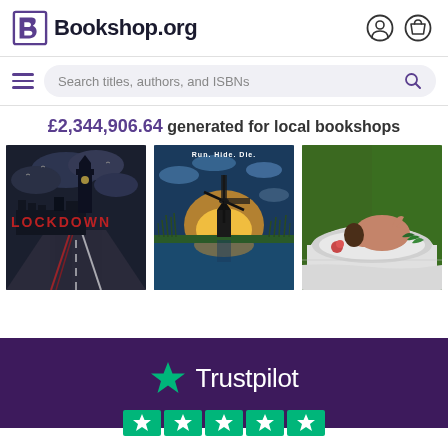Bookshop.org
Search titles, authors, and ISBNs
£2,344,906.64 generated for local bookshops
[Figure (photo): Three book covers in a horizontal row: 1) Lockdown - dark dramatic image of Big Ben and Parliament with empty road at night; 2) Run. Hide. Die. - scenic windmill at sunset reflected in water; 3) Unknown title - person lying on a plate with food, green background]
[Figure (logo): Trustpilot logo with green star and white text on dark purple background, with green rating stars below]